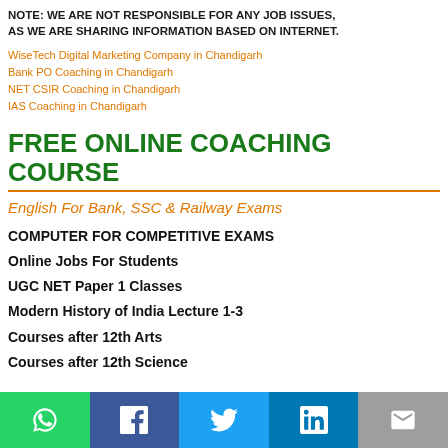NOTE: WE ARE NOT RESPONSIBLE FOR ANY JOB ISSUES, AS WE ARE SHARING INFORMATION BASED ON INTERNET.
WiseTech Digital Marketing Company in Chandigarh
Bank PO Coaching in Chandigarh
NET CSIR Coaching in Chandigarh
IAS Coaching in Chandigarh
FREE ONLINE COACHING COURSE
English For Bank, SSC & Railway Exams
COMPUTER FOR COMPETITIVE EXAMS
Online Jobs For Students
UGC NET Paper 1 Classes
Modern History of India Lecture 1-3
Courses after 12th Arts
Courses after 12th Science